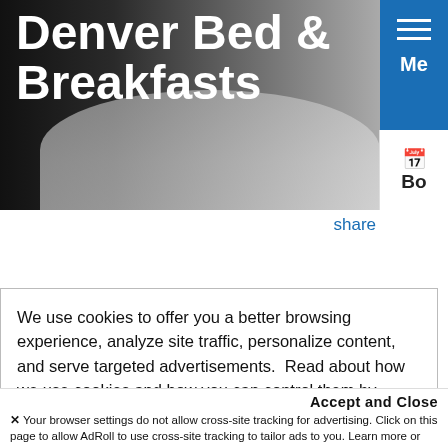Denver Bed & Breakfasts
share
Whether you're here on business, vacation or for a
We use cookies to offer you a better browsing experience, analyze site traffic, personalize content, and serve targeted advertisements.  Read about how we use cookies and how you can control them by visiting our Privacy Policy.  If you continue to use this site, you consent to the use of cookies.
Accept and Close
Your browser settings do not allow cross-site tracking for advertising. Click on this page to allow AdRoll to use cross-site tracking to tailor ads to you. Learn more or opt out of this AdRoll tracking by clicking here. This message only appears once.